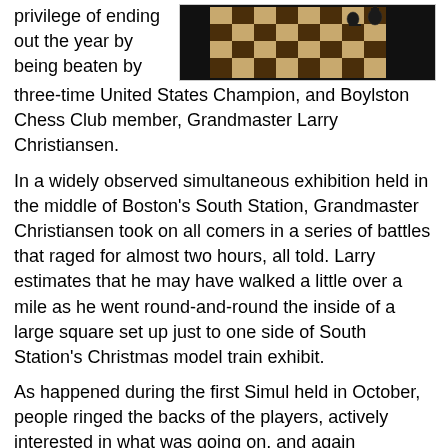privilege of ending out the year by being beaten by three-time United States Champion, and Boylston Chess Club member, Grandmaster Larry Christiansen.
[Figure (photo): A chess board photographed from above showing chess pieces arranged on a checkered board pattern, with dark background.]
In a widely observed simultaneous exhibition held in the middle of Boston's South Station, Grandmaster Christiansen took on all comers in a series of battles that raged for almost two hours, all told. Larry estimates that he may have walked a little over a mile as he went round-and-round the inside of a large square set up just to one side of South Station's Christmas model train exhibit.
As happened during the first Simul held in October, people ringed the backs of the players, actively interested in what was going on, and again whispering, "Who is the guy in the center? He's pretty good!"
Flyers and brochures advertising the Boyslton Chess Club were available and picked up by interested onlookers which will hopefully translate into a few new, enthusiastic club